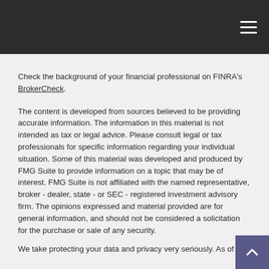Navigation header with hamburger menu
Check the background of your financial professional on FINRA's BrokerCheck.
The content is developed from sources believed to be providing accurate information. The information in this material is not intended as tax or legal advice. Please consult legal or tax professionals for specific information regarding your individual situation. Some of this material was developed and produced by FMG Suite to provide information on a topic that may be of interest. FMG Suite is not affiliated with the named representative, broker - dealer, state - or SEC - registered investment advisory firm. The opinions expressed and material provided are for general information, and should not be considered a solicitation for the purchase or sale of any security.
We take protecting your data and privacy very seriously. As of